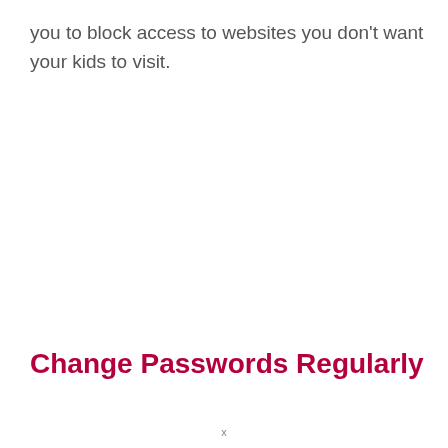you to block access to websites you don't want your kids to visit.
Change Passwords Regularly
x